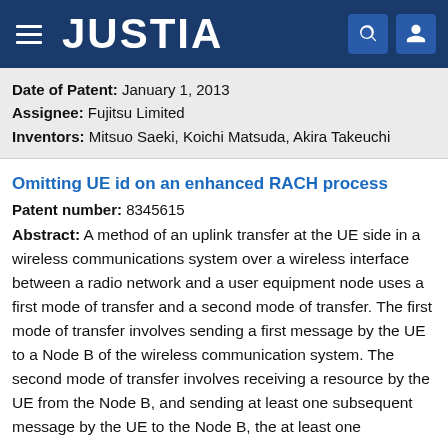JUSTIA
Date of Patent: January 1, 2013
Assignee: Fujitsu Limited
Inventors: Mitsuo Saeki, Koichi Matsuda, Akira Takeuchi
Omitting UE id on an enhanced RACH process
Patent number: 8345615
Abstract: A method of an uplink transfer at the UE side in a wireless communications system over a wireless interface between a radio network and a user equipment node uses a first mode of transfer and a second mode of transfer. The first mode of transfer involves sending a first message by the UE to a Node B of the wireless communication system. The second mode of transfer involves receiving a resource by the UE from the Node B, and sending at least one subsequent message by the UE to the Node B, the at least one